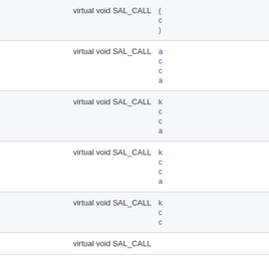| Signature | Name/Parameters |
| --- | --- |
| virtual void SAL_CALL | (…
c…
) |
| virtual void SAL_CALL | a(…
c…
c…
a…) |
| virtual void SAL_CALL | k(…
c…
c…
a…) |
| virtual void SAL_CALL | k(…
c…
c…
a…) |
| virtual void SAL_CALL | k(…
c…
c…) |
| virtual void SAL_CALL |  |